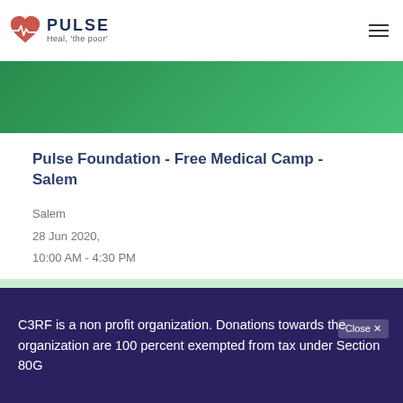PULSE Heal, 'the poor'
[Figure (photo): Green-tinted banner photo at top of page]
Pulse Foundation - Free Medical Camp - Salem
Salem
28 Jun 2020,
10:00 AM - 4:30 PM
[Figure (photo): Green-tinted photo of a person, partially visible]
C3RF is a non profit organization. Donations towards the organization are 100 percent exempted from tax under Section 80G